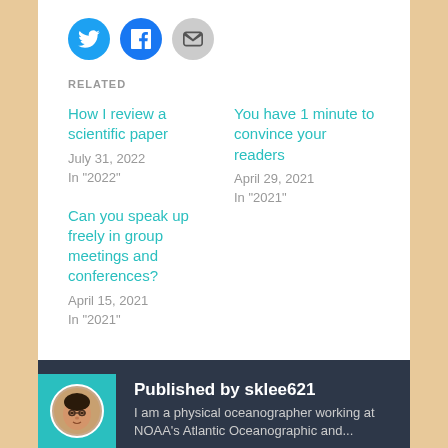[Figure (other): Social share buttons: Twitter (blue circle), Facebook (blue circle), Email (grey circle)]
RELATED
How I review a scientific paper
July 31, 2022
In "2022"
You have 1 minute to convince your readers
April 29, 2021
In "2021"
Can you speak up freely in group meetings and conferences?
April 15, 2021
In "2021"
Published by sklee621
I am a physical oceanographer working at NOAA's Atlantic Oceanographic and...